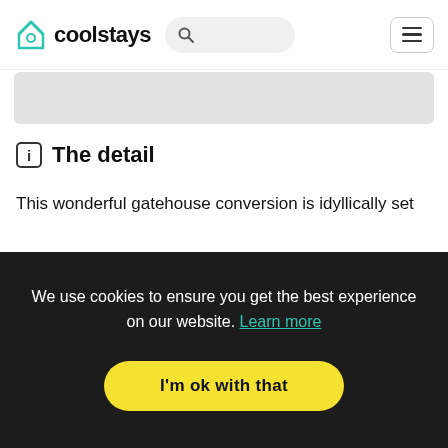coolstays
The detail
This wonderful gatehouse conversion is idyllically set
We use cookies to ensure you get the best experience on our website. Learn more
I'm ok with that